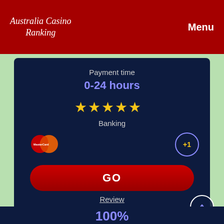Australia Casino Ranking / Menu
Payment time
0-24 hours
[Figure (other): 5 yellow stars rating]
Banking
[Figure (logo): Mastercard logo (red/orange overlapping circles)]
+1
GO
Review
4
100%